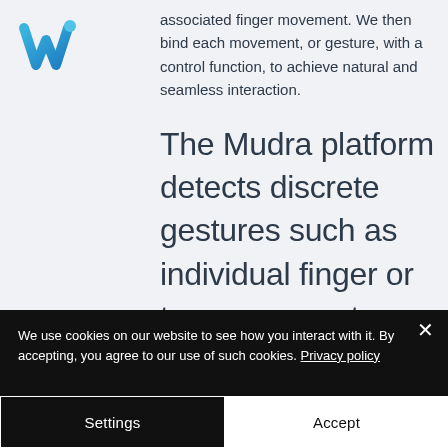[Figure (logo): Blue stylized W logo mark for Mudra/wearable tech company]
associated finger movement. We then bind each movement, or gesture, with a control function, to achieve natural and seamless interaction.
The Mudra platform detects discrete gestures such as individual finger or tap movements, continuous interactions
We use cookies on our website to see how you interact with it. By accepting, you agree to our use of such cookies. Privacy policy
Settings
Accept